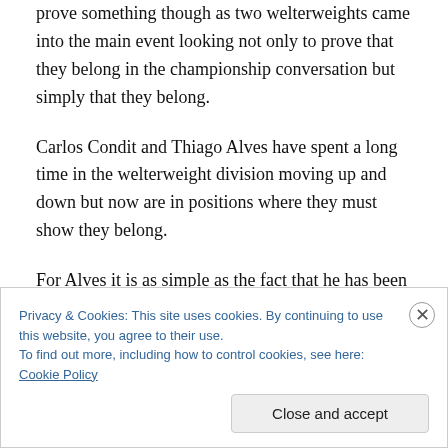prove something though as two welterweights came into the main event looking not only to prove that they belong in the championship conversation but simply that they belong.
Carlos Condit and Thiago Alves have spent a long time in the welterweight division moving up and down but now are in positions where they must show they belong.
For Alves it is as simple as the fact that he has been doing this a long time as he has been in the UFC since 2005.
Privacy & Cookies: This site uses cookies. By continuing to use this website, you agree to their use. To find out more, including how to control cookies, see here: Cookie Policy
Close and accept